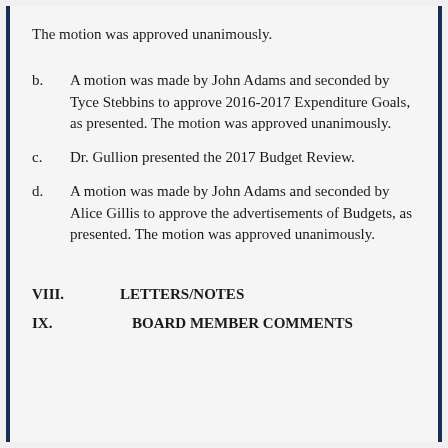The motion was approved unanimously.
b.    A motion was made by John Adams and seconded by Tyce Stebbins to approve 2016-2017 Expenditure Goals, as presented.  The motion was approved unanimously.
c.    Dr. Gullion presented the 2017 Budget Review.
d.    A motion was made by John Adams and seconded by Alice Gillis to approve the advertisements of Budgets, as presented.  The motion was approved unanimously.
VIII.    LETTERS/NOTES
IX.        BOARD MEMBER COMMENTS